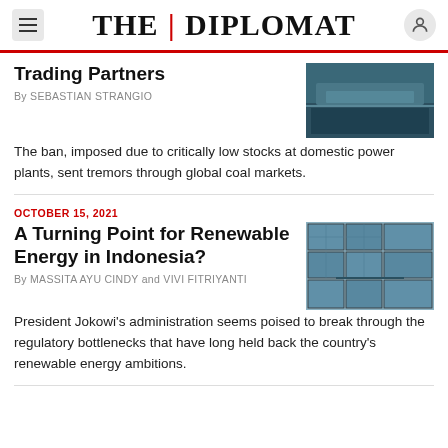THE DIPLOMAT
Trading Partners
By SEBASTIAN STRANGIO
The ban, imposed due to critically low stocks at domestic power plants, sent tremors through global coal markets.
OCTOBER 15, 2021
A Turning Point for Renewable Energy in Indonesia?
By MASSITA AYU CINDY and VIVI FITRIYANTI
President Jokowi's administration seems poised to break through the regulatory bottlenecks that have long held back the country's renewable energy ambitions.